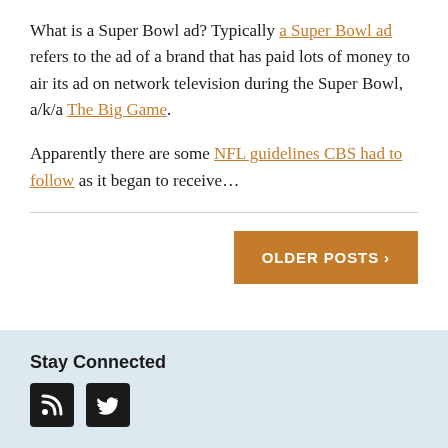What is a Super Bowl ad? Typically a Super Bowl ad refers to the ad of a brand that has paid lots of money to air its ad on network television during the Super Bowl, a/k/a The Big Game.
Apparently there are some NFL guidelines CBS had to follow as it began to receive...
OLDER POSTS >
Stay Connected
[Figure (other): RSS feed icon and Twitter bird icon in black boxes]